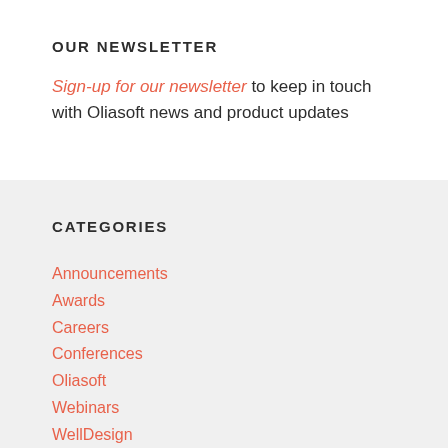OUR NEWSLETTER
Sign-up for our newsletter to keep in touch with Oliasoft news and product updates
CATEGORIES
Announcements
Awards
Careers
Conferences
Oliasoft
Webinars
WellDesign